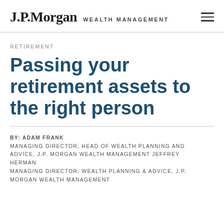J.P.Morgan WEALTH MANAGEMENT
RETIREMENT
Passing your retirement assets to the right person
BY: ADAM FRANK
MANAGING DIRECTOR, HEAD OF WEALTH PLANNING AND ADVICE, J.P. MORGAN WEALTH MANAGEMENT JEFFREY HERMAN
MANAGING DIRECTOR, WEALTH PLANNING & ADVICE, J.P. MORGAN WEALTH MANAGEMENT